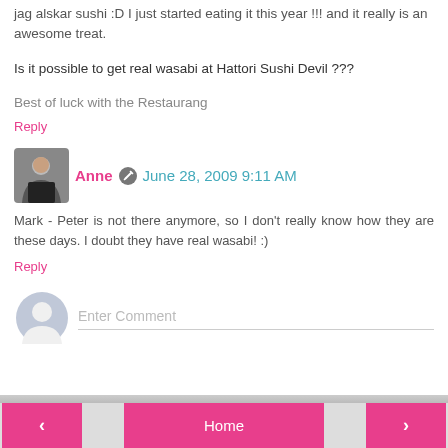jag alskar sushi :D I just started eating it this year !!! and it really is an awesome treat.
Is it possible to get real wasabi at Hattori Sushi Devil ???
Best of luck with the Restaurang
Reply
Anne  June 28, 2009 9:11 AM
Mark - Peter is not there anymore, so I don't really know how they are these days. I doubt they have real wasabi! :)
Reply
Enter Comment